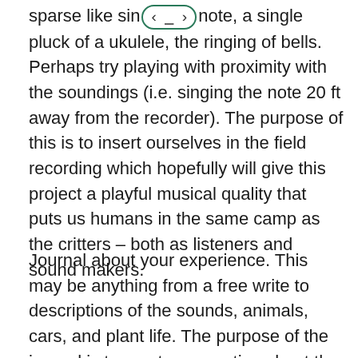sparse like sin[navigation widget]note, a single pluck of a ukulele, the ringing of bells. Perhaps try playing with proximity with the soundings (i.e. singing the note 20 ft away from the recorder). The purpose of this is to insert ourselves in the field recording which hopefully will give this project a playful musical quality that puts us humans in the same camp as the critters – both as listeners and sound makers.
Journal about your experience. This may be anything from a free write to descriptions of the sounds, animals, cars, and plant life. The purpose of the journal is to create a narrative about the soundscape and the habitat but also our experience of the habitat. Here are some questions that could prompt the journal writings: